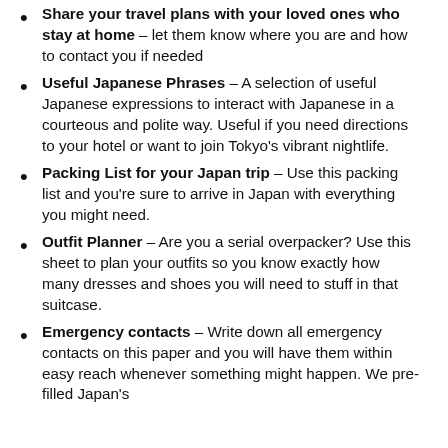Share your travel plans with your loved ones who stay at home – let them know where you are and how to contact you if needed
Useful Japanese Phrases – A selection of useful Japanese expressions to interact with Japanese in a courteous and polite way. Useful if you need directions to your hotel or want to join Tokyo's vibrant nightlife.
Packing List for your Japan trip – Use this packing list and you're sure to arrive in Japan with everything you might need.
Outfit Planner – Are you a serial overpacker? Use this sheet to plan your outfits so you know exactly how many dresses and shoes you will need to stuff in that suitcase.
Emergency contacts – Write down all emergency contacts on this paper and you will have them within easy reach whenever something might happen. We pre-filled Japan's